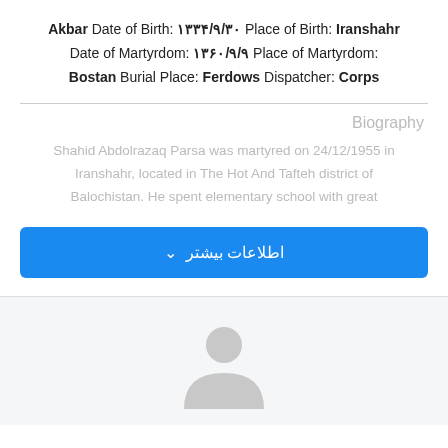Akbar Date of Birth: ۱۳۳۴/۹/۳۰ Place of Birth: Iranshahr Date of Martyrdom: ۱۳۶۰/۹/۹ Place of Martyrdom: Bostan Burial Place: Ferdows Dispatcher: Corps
Biography
Shahid Abdolrazaq Parsa was martyred on 24/12/1955 in Iranshahr, located in The Hot And Tafteh district of Balochistan. He spent elementary school with great
[Figure (other): Blue button with Persian text 'اطلاعات بیشتر' (More Information) with a chevron icon]
[Figure (illustration): Generic user avatar placeholder icon in gray on a light gray background]